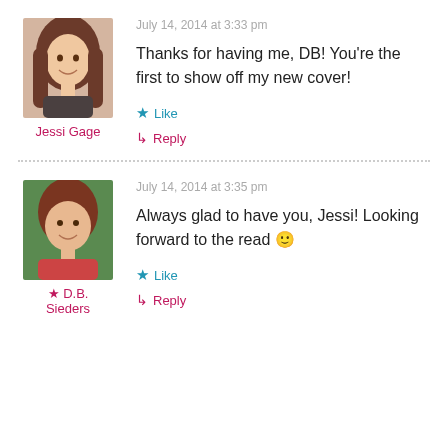[Figure (photo): Profile photo of Jessi Gage, a young woman with long brown hair, smiling]
Jessi Gage
July 14, 2014 at 3:33 pm
Thanks for having me, DB! You're the first to show off my new cover!
Like
Reply
[Figure (photo): Profile photo of D.B. Sieders, a woman with reddish-brown hair, smiling, outdoors]
★ D.B. Sieders
July 14, 2014 at 3:35 pm
Always glad to have you, Jessi! Looking forward to the read 🙂
Like
Reply